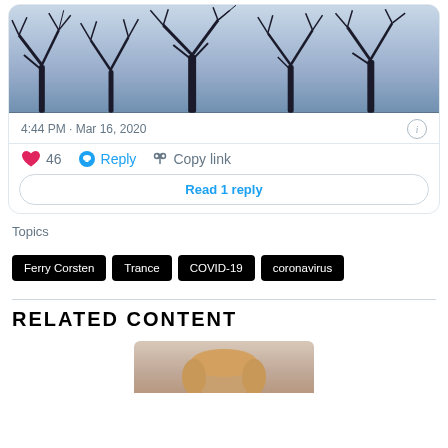[Figure (photo): Photo of bare winter trees against a grey-blue sky, dark silhouette branches]
4:44 PM · Mar 16, 2020
❤ 46   Reply   Copy link
Read 1 reply
Topics
Ferry Corsten
Trance
COVID-19
coronavirus
RELATED CONTENT
[Figure (photo): Partial view of a person's head/hair at the bottom of the page]